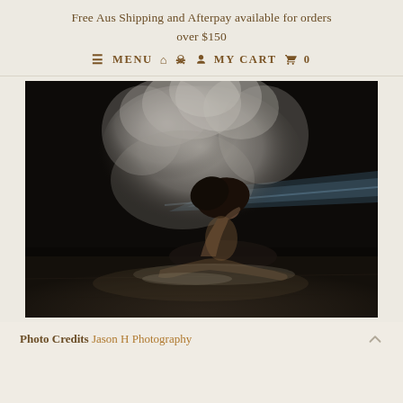Free Aus Shipping and Afterpay available for orders over $150
≡ MENU  🏠  👤  MY CART  🛒  0
[Figure (photo): A dancer in a dramatic low-light studio setting. The person is posed on the ground in a deep back-arching position with long hair spread out, surrounded by a large cloud of white powder/smoke. A streak of blue/white light appears in the background. The floor is concrete and the overall image is dark and moody.]
Photo Credits Jason H Photography